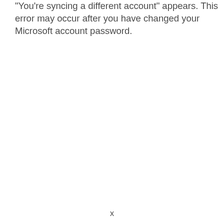"You're syncing a different account" appears. This error may occur after you have changed your Microsoft account password.
x